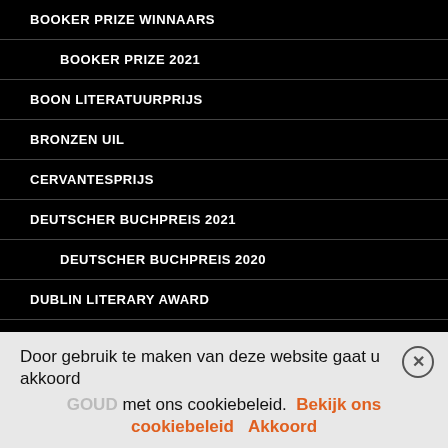BOOKER PRIZE WINNAARS
BOOKER PRIZE 2021
BOON LITERATUURPRIJS
BRONZEN UIL
CERVANTESPRIJS
DEUTSCHER BUCHPREIS 2021
DEUTSCHER BUCHPREIS 2020
DUBLIN LITERARY AWARD
EUROPESE LITERATUURPRIJS
EUROPESE LITERATUURPRIJS 2019
GOUDEN STROP
GOUD
GROTE POEZIEPRIJS
Door gebruik te maken van deze website gaat u akkoord met ons cookiebeleid. Bekijk ons cookiebeleid  Akkoord